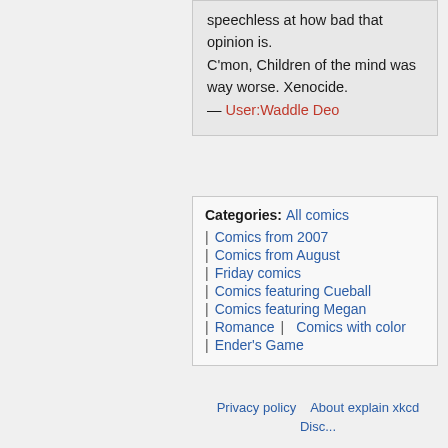speechless at how bad that opinion is.

C'mon, Children of the mind was way worse. Xenocide. — User:Waddle Deo
Categories: All comics | Comics from 2007 | Comics from August | Friday comics | Comics featuring Cueball | Comics featuring Megan | Romance | Comics with color | Ender's Game
Privacy policy   About explain xkcd